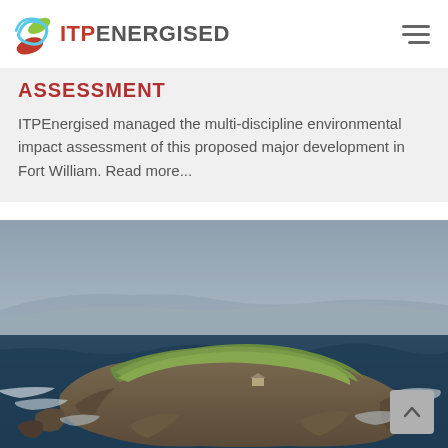ITPEnergised
ASSESSMENT
ITPEnergised managed the multi-discipline environmental impact assessment of this proposed major development in Fort William. Read more...
[Figure (photo): Aerial photograph of a rocky island surrounded by rough sea waves, with green grassland on top and dramatic cliffs. Overcast sky with mist over the hills in the background.]